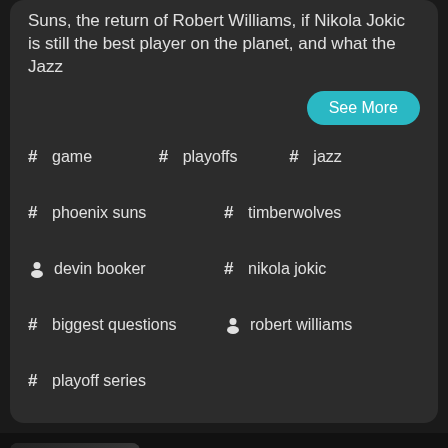Suns, the return of Robert Williams, if Nikola Jokic is still the best player on the planet, and what the Jazz
See More
# game
# playoffs
# jazz
# phoenix suns
# timberwolves
person devin booker
# nikola jokic
# biggest questions
person robert williams
# playoff series
[Figure (photo): Thumbnail image of a man in a suit, ESPN 700 logo, The Bill Riley Show branding]
Gordie Chiesa on the Utah Jazz including last night's loss to the Mavs in game 2 of their 1st round playoff series